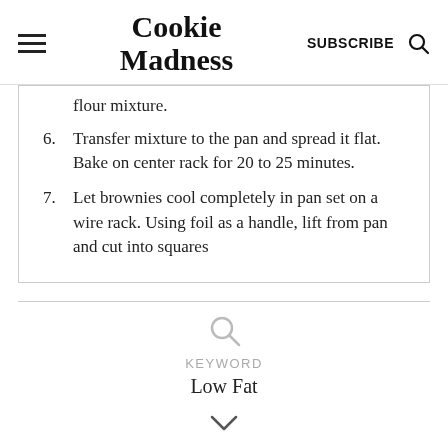Cookie Madness | SUBSCRIBE
flour mixture.
6. Transfer mixture to the pan and spread it flat. Bake on center rack for 20 to 25 minutes.
7. Let brownies cool completely in pan set on a wire rack. Using foil as a handle, lift from pan and cut into squares
KEYWORD
Low Fat